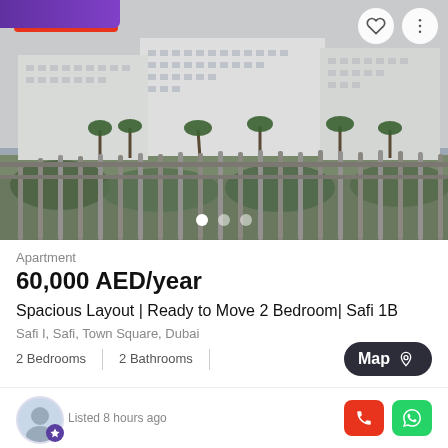[Figure (photo): Apartment balcony view showing white multi-story residential buildings across a water feature with palm trees and green landscaping in Town Square, Dubai. Metal railing visible in foreground. Overcast sky.]
Apartment
60,000 AED/year
Spacious Layout | Ready to Move 2 Bedroom| Safi 1B
Safi I, Safi, Town Square, Dubai
2 Bedrooms  |  2 Bathrooms
Listed 8 hours ago